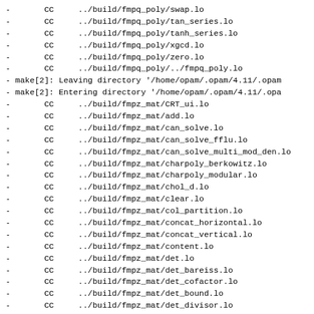-       CC     ../build/fmpq_poly/swap.lo
-       CC     ../build/fmpq_poly/tan_series.lo
-       CC     ../build/fmpq_poly/tanh_series.lo
-       CC     ../build/fmpq_poly/xgcd.lo
-       CC     ../build/fmpq_poly/zero.lo
-       CC     ../build/fmpq_poly/../fmpq_poly.lo
- make[2]: Leaving directory '/home/opam/.opam/4.11/.opam
- make[2]: Entering directory '/home/opam/.opam/4.11/.opa
-       CC     ../build/fmpz_mat/CRT_ui.lo
-       CC     ../build/fmpz_mat/add.lo
-       CC     ../build/fmpz_mat/can_solve.lo
-       CC     ../build/fmpz_mat/can_solve_fflu.lo
-       CC     ../build/fmpz_mat/can_solve_multi_mod_den.lo
-       CC     ../build/fmpz_mat/charpoly_berkowitz.lo
-       CC     ../build/fmpz_mat/charpoly_modular.lo
-       CC     ../build/fmpz_mat/chol_d.lo
-       CC     ../build/fmpz_mat/clear.lo
-       CC     ../build/fmpz_mat/col_partition.lo
-       CC     ../build/fmpz_mat/concat_horizontal.lo
-       CC     ../build/fmpz_mat/concat_vertical.lo
-       CC     ../build/fmpz_mat/content.lo
-       CC     ../build/fmpz_mat/det.lo
-       CC     ../build/fmpz_mat/det_bareiss.lo
-       CC     ../build/fmpz_mat/det_cofactor.lo
-       CC     ../build/fmpz_mat/det_bound.lo
-       CC     ../build/fmpz_mat/det_divisor.lo
-       CC     ../build/fmpz_mat/det_modular.lo
-       CC     ../build/fmpz_mat/det_modular_accelerated.lo
-       CC     ../build/fmpz_mat/det_modular_given_divisor.lo
-       CC     ../build/fmpz_mat/equal.lo